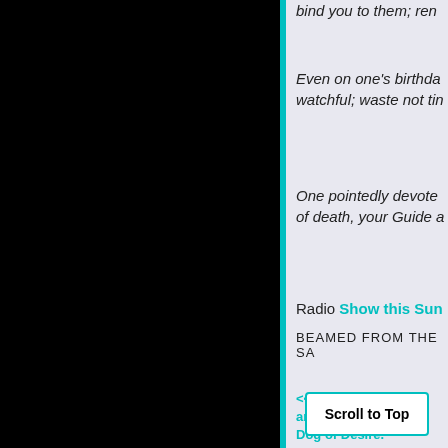bind you to them; ren...
Even on one's birthday, watchful; waste not tin...
One pointedly devote ... of death, your Guide a...
Radio Show this Sun...
BEAMED FROM THE SA...
<< The Monkey Mind and Dog of Desire.
Scroll to Top